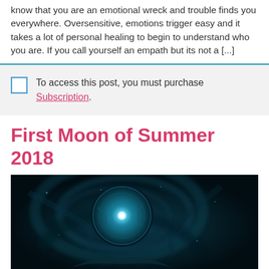know that you are an emotional wreck and trouble finds you everywhere. Oversensitive, emotions trigger easy and it takes a lot of personal healing to begin to understand who you are. If you call yourself an empath but its not a [...]
To access this post, you must purchase Subscription.
First Moon of Summer 2018
[Figure (photo): Dark blue mystical artwork showing a glowing circular moon or eye shape with swirling cosmic textures in deep teal and blue tones]